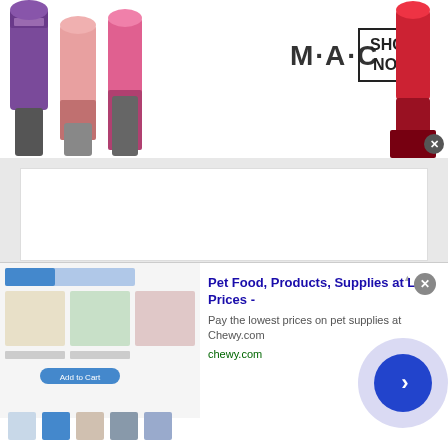[Figure (screenshot): MAC cosmetics advertisement banner showing colorful lipsticks on the left, MAC logo text in the center, a 'SHOP NOW' box, and a red lipstick on the right with a close X button]
Are you trapped in the office working or working from home ? Craving for some fun and humor but cannot
[Figure (screenshot): Chewy.com advertisement banner with pet food product images on the left, title 'Pet Food, Products, Supplies at Low Prices -', description 'Pay the lowest prices on pet supplies at Chewy.com', URL 'chewy.com', a navigation arrow button on the right, and small product thumbnails at the bottom]